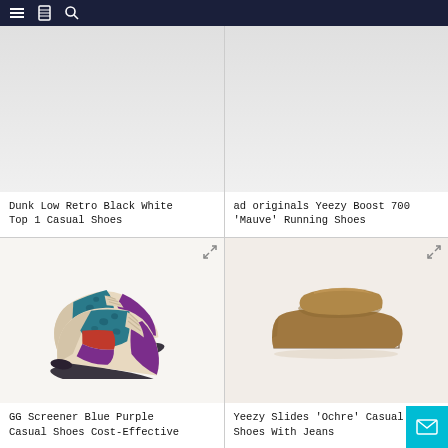Navigation bar with menu, bookmark, and search icons
[Figure (photo): Partial product image - top of card for Dunk Low Retro Black White Top 1 Casual Shoes (image cropped at top of viewport)]
Dunk Low Retro Black White Top 1 Casual Shoes
[Figure (photo): Partial product image - top of card for ad originals Yeezy Boost 700 'Mauve' Running Shoes (image cropped at top of viewport)]
ad originals Yeezy Boost 700 'Mauve' Running Shoes
[Figure (photo): GG Screener Blue Purple casual sneakers - cream colored low-top shoes with blue, red, and purple striped side panels and GG monogram pattern, shown as a pair from above]
GG Screener Blue Purple Casual Shoes Cost-Effective
[Figure (photo): Yeezy Slides 'Ochre' - tan/brown single molded slide sandal with serrated bottom sole]
Yeezy Slides 'Ochre' Casual Shoes With Jeans